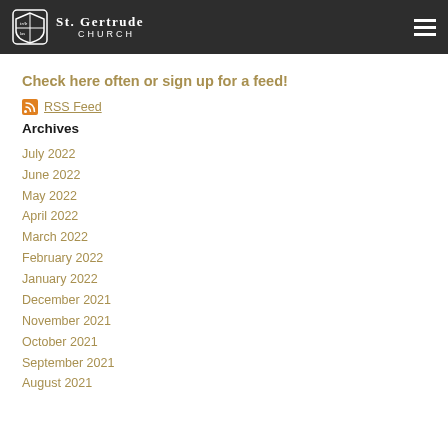St. Gertrude Church
Check here often or sign up for a feed!
RSS Feed
Archives
July 2022
June 2022
May 2022
April 2022
March 2022
February 2022
January 2022
December 2021
November 2021
October 2021
September 2021
August 2021